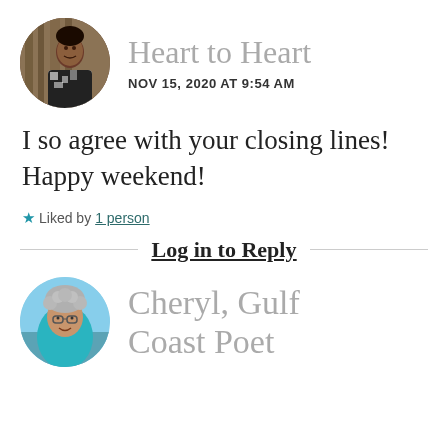[Figure (photo): Circular avatar photo of a woman with dark hair wearing a black and white patterned top, with a decorative curtain background]
Heart to Heart
NOV 15, 2020 AT 9:54 AM
I so agree with your closing lines! Happy weekend!
★ Liked by 1 person
Log in to Reply
[Figure (photo): Circular avatar photo of an older woman with short curly gray hair and glasses, smiling, with a beach/ocean background]
Cheryl, Gulf Coast Poet